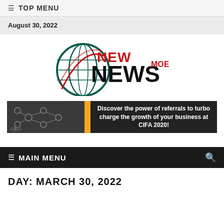≡ TOP MENU
August 30, 2022
[Figure (logo): New NewsMoe logo with globe graphic, red NEW text, bold black NEWS text, red MOE superscript]
[Figure (infographic): Banner ad: dark background with network diagram image on left, orange divider, text: Discover the power of referrals to turbo charge the growth of your business at CIFA 2020!]
≡ MAIN MENU
DAY: MARCH 30, 2022